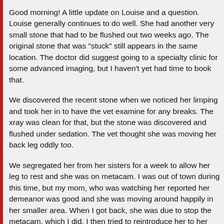Good morning! A little update on Louise and a question. Louise generally continues to do well. She had another very small stone that had to be flushed out two weeks ago. The original stone that was "stuck" still appears in the same location. The doctor did suggest going to a specialty clinic for some advanced imaging, but I haven't yet had time to book that.
We discovered the recent stone when we noticed her limping and took her in to have the vet examine for any breaks. The xray was clean for that, but the stone was discovered and flushed under sedation. The vet thought she was moving her back leg oddly too.
We segregated her from her sisters for a week to allow her leg to rest and she was on metacam. I was out of town during this time, but my mom, who was watching her reported her demeanor was good and she was moving around happily in her smaller area. When I got back, she was due to stop the metacam, which I did. I then tried to reintroduce her to her sisters again and there was a little fighting between her and Marmot. They seemed to have worked that out and are all